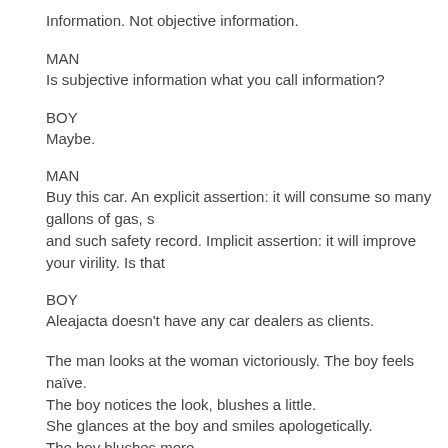Information. Not objective information.
MAN
Is subjective information what you call information?
BOY
Maybe.
MAN
Buy this car. An explicit assertion: it will consume so many gallons of gas, s and such safety record. Implicit assertion: it will improve your virility. Is that
BOY
Aleajacta doesn't have any car dealers as clients.
The man looks at the woman victoriously. The boy feels naïve.
The boy notices the look, blushes a little.
She glances at the boy and smiles apologetically.
The boy blushes more.
BOY
It's the same all over.
MAN